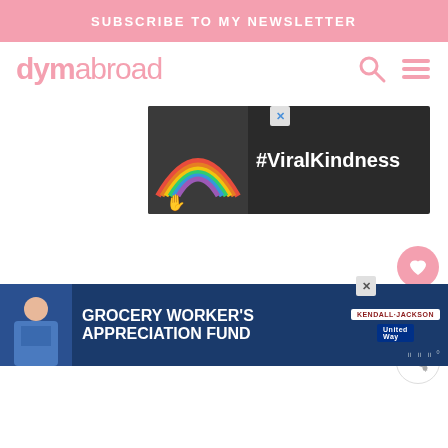SUBSCRIBE TO MY NEWSLETTER
dymabroad
[Figure (screenshot): Advertisement banner with rainbow chalk drawing and text #ViralKindness on dark background]
[Figure (screenshot): Advertisement banner: Grocery Worker's Appreciation Fund with Kendall-Jackson and United Way logos]